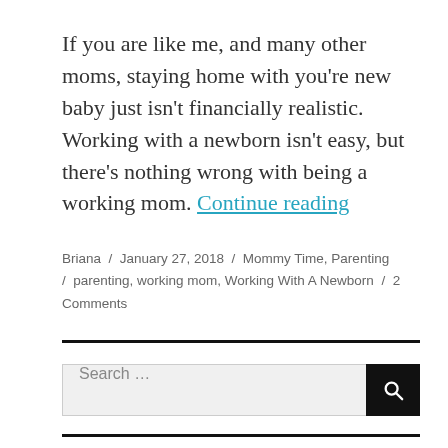If you are like me, and many other moms, staying home with you're new baby just isn't financially realistic. Working with a newborn isn't easy, but there's nothing wrong with being a working mom. Continue reading
Briana / January 27, 2018 / Mommy Time, Parenting / parenting, working mom, Working With A Newborn / 2 Comments